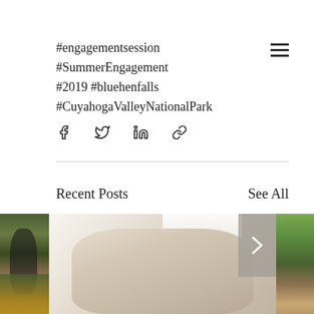#engagementsession #SummerEngagement #2019 #bluehenfalls #CuyahogaValleyNationalPark
[Figure (other): Social media share icons row: Facebook, Twitter, LinkedIn, chain/link icon]
Recent Posts
See All
[Figure (photo): Three partially visible blog post thumbnail photos: left shows a woman in a floral field, center shows a newborn baby in white star-print outfit held up near a bright window, right shows an outdoor wooded scene]